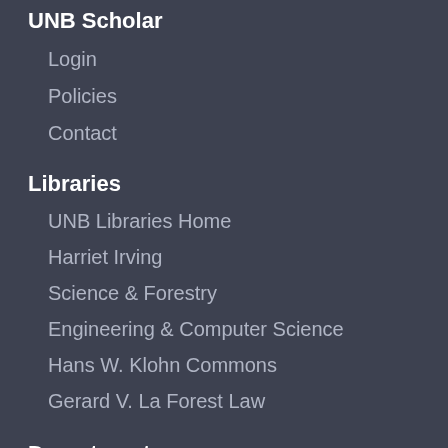UNB Scholar
Login
Policies
Contact
Libraries
UNB Libraries Home
Harriet Irving
Science & Forestry
Engineering & Computer Science
Hans W. Klohn Commons
Gerard V. La Forest Law
Departments